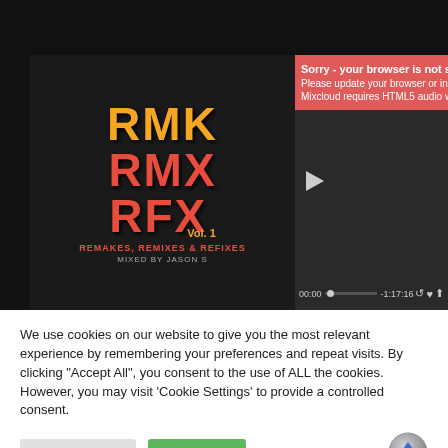[Figure (screenshot): Mixcloud audio player embedded in a dark background webpage. Left side shows an album cover with orange/red text 'RMK RMX RFX Vol.1 Remakes, Remixes & Refixes Mixed by Jason S'. Right side shows a player with a red error banner: 'Sorry - your browser is not supported. Please update your browser or install another. Mixcloud requires HTML5 audio with MP3 a...' Below is a playback bar showing 00:00 and -1:17:16 with progress dot and control icons.]
We use cookies on our website to give you the most relevant experience by remembering your preferences and repeat visits. By clicking "Accept All", you consent to the use of ALL the cookies. However, you may visit 'Cookie Settings' to provide a controlled consent.